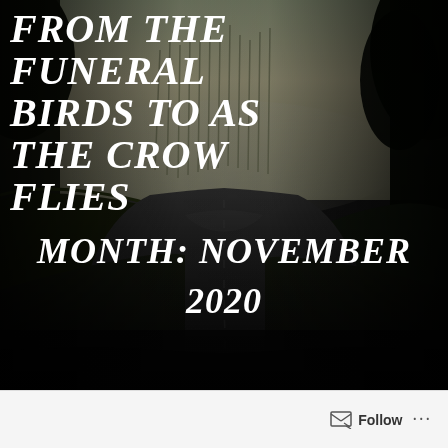[Figure (photo): Dark atmospheric country road winding through trees and hedgerows in misty light, tall bare trees in background, lush dark hedges on both sides]
FROM THE FUNERAL BIRDS TO AS THE CROW FLIES
MONTH: NOVEMBER 2020
Follow ...